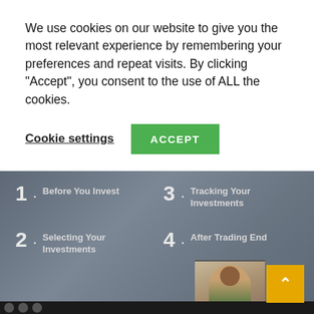We use cookies on our website to give you the most relevant experience by remembering your preferences and repeat visits. By clicking "Accept", you consent to the use of ALL the cookies.
Cookie settings
ACCEPT
[Figure (screenshot): Screenshot of a video player showing a course introduction slide titled 'Four Content Units' with four numbered items: 1. Before You Invest, 2. Selecting Your Investments, 3. Tracking Your Investments, 4. After Trading End[s]. A small video thumbnail of a person is visible in the lower right corner with a yellow scroll-to-top button.]